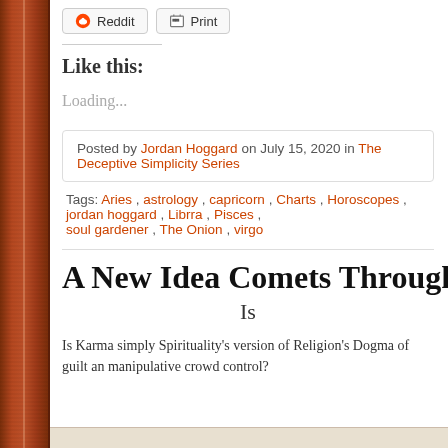[Figure (other): Two share buttons: Reddit and Print, styled with icons]
Like this:
Loading...
Posted by Jordan Hoggard on July 15, 2020 in The Deceptive Simplicity Series
Tags: Aries, astrology, capricorn, Charts, Horoscopes, jordan hoggard, Librra, Pisces, soul gardener, The Onion, virgo
A New Idea Comets Through My
Is
Is Karma simply Spirituality's version of Religion's Dogma of guilt an manipulative crowd control?